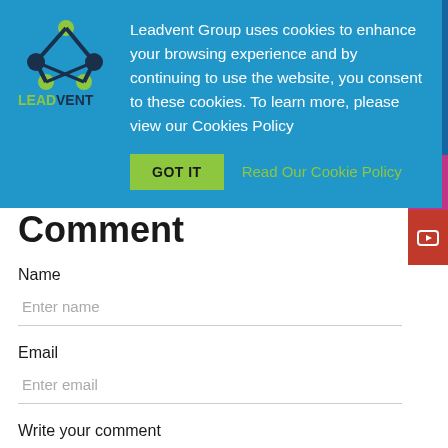[Figure (logo): Leadvent Group logo with green dots and dark molecule shape, text LEADVENT in green and dark blue]
Leadvent Group uses cookies to enhance your browsing experience and by continuing to use the website, you consent to these cookies. To learn more, please view our Cookies Policy
GOT IT
Read Our Cookie Policy
Comment
Name
Enter name
Email
Enter email
Write your comment
Write your comment